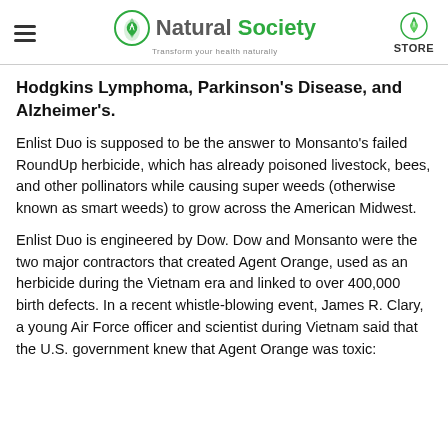Natural Society — Transform your health naturally | STORE
Hodgkins Lymphoma, Parkinson's Disease, and Alzheimer's.
Enlist Duo is supposed to be the answer to Monsanto's failed RoundUp herbicide, which has already poisoned livestock, bees, and other pollinators while causing super weeds (otherwise known as smart weeds) to grow across the American Midwest.
Enlist Duo is engineered by Dow. Dow and Monsanto were the two major contractors that created Agent Orange, used as an herbicide during the Vietnam era and linked to over 400,000 birth defects. In a recent whistle-blowing event, James R. Clary, a young Air Force officer and scientist during Vietnam said that the U.S. government knew that Agent Orange was toxic: